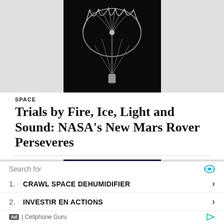[Figure (photo): Black and white photo of a parachute deployed against a black background, viewed from below showing the canopy shape]
SPACE
Trials by Fire, Ice, Light and Sound: NASA's New Mars Rover Perseveres
[Figure (photo): Illustration showing Mars landing sequence with multiple parachutes deploying in sequence above a Mars landscape with orange terrain and dark blue sky]
SPACE
NASA's Perseverance 20 R...
Search for
1. CRAWL SPACE DEHUMIDIFIER
2. INVESTIR EN ACTIONS
Ad | Cellphone Guru